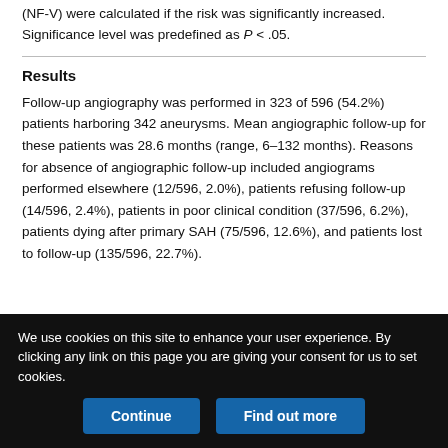(NF-V) were calculated if the risk was significantly increased. Significance level was predefined as P < .05.
Results
Follow-up angiography was performed in 323 of 596 (54.2%) patients harboring 342 aneurysms. Mean angiographic follow-up for these patients was 28.6 months (range, 6–132 months). Reasons for absence of angiographic follow-up included angiograms performed elsewhere (12/596, 2.0%), patients refusing follow-up (14/596, 2.4%), patients in poor clinical condition (37/596, 6.2%), patients dying after primary SAH (75/596, 12.6%), and patients lost to follow-up (135/596, 22.7%).
We use cookies on this site to enhance your user experience. By clicking any link on this page you are giving your consent for us to set cookies.